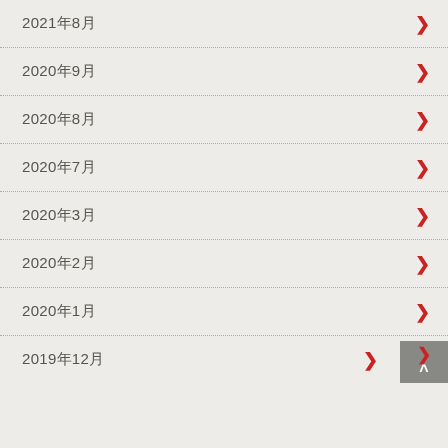2021年8月
2020年9月
2020年8月
2020年7月
2020年3月
2020年2月
2020年1月
2019年12月